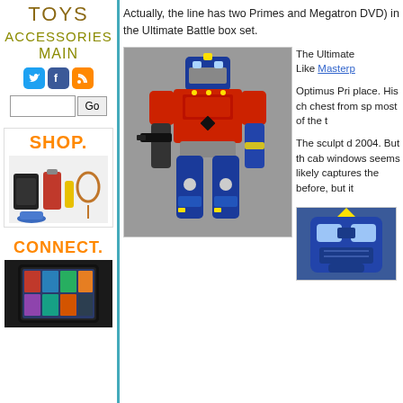TOYS
ACCESSORIES
MAIN
[Figure (screenshot): Social media icons: Twitter bird (blue), Facebook (blue), RSS feed (orange)]
[Figure (screenshot): Search bar with text input and Go button]
SHOP.
[Figure (photo): Shopping ad showing electronics, kitchen appliances, shoes, and other consumer goods]
CONNECT.
[Figure (photo): Amazon Kindle tablet device showing media content]
Actually, the line has two Primes and Megatron DVD) in the Ultimate Battle box set.
[Figure (photo): Optimus Prime Transformers action figure in robot mode, red and blue with gray details, holding a black weapon]
The Ultimate Like Masterp
Optimus Pri place. His ch chest from sp most of the t
The sculpt d 2004. But th cab windows seems likely captures the before, but it
[Figure (photo): Close-up of a blue Transformer robot face with yellow crest]